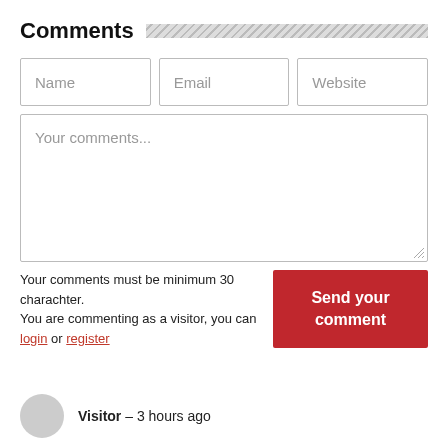Comments
[Figure (screenshot): Comment form with Name, Email, Website input fields and a Your comments... textarea]
Your comments must be minimum 30 charachter.
You are commenting as a visitor, you can login or register
Send your comment
Visitor – 3 hours ago